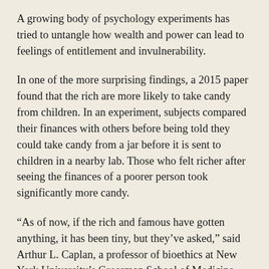A growing body of psychology experiments has tried to untangle how wealth and power can lead to feelings of entitlement and invulnerability.
In one of the more surprising findings, a 2015 paper found that the rich are more likely to take candy from children. In an experiment, subjects compared their finances with others before being told they could take candy from a jar before it is sent to children in a nearby lab. Those who felt richer after seeing the finances of a poorer person took significantly more candy.
“As of now, if the rich and famous have gotten anything, it has been tiny, but they’ve asked,” said Arthur L. Caplan, a professor of bioethics at New York University’s Grossman School of Medicine. “Hospitals have been holding the line, but in the next few weeks, as they expand beyond health-care workers and nursing homes, hospitals will be tempted to give access to big donors and concierge medical operations. … There will definitely be a black market.”